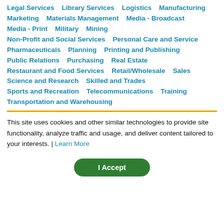Legal Services   Library Services   Logistics   Manufacturing   Marketing   Materials Management   Media - Broadcast   Media - Print   Military   Mining   Non-Profit and Social Services   Personal Care and Service   Pharmaceuticals   Planning   Printing and Publishing   Public Relations   Purchasing   Real Estate   Restaurant and Food Services   Retail/Wholesale   Sales   Science and Research   Skilled and Trades   Sports and Recreation   Telecommunications   Training   Transportation and Warehousing
This site uses cookies and other similar technologies to provide site functionality, analyze traffic and usage, and deliver content tailored to your interests. | Learn More